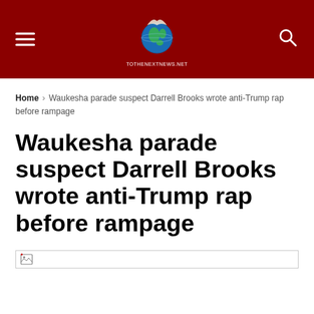Site header with hamburger menu, globe logo, and search icon on dark red background
Home › Waukesha parade suspect Darrell Brooks wrote anti-Trump rap before rampage
Waukesha parade suspect Darrell Brooks wrote anti-Trump rap before rampage
[Figure (other): Broken image placeholder bar]